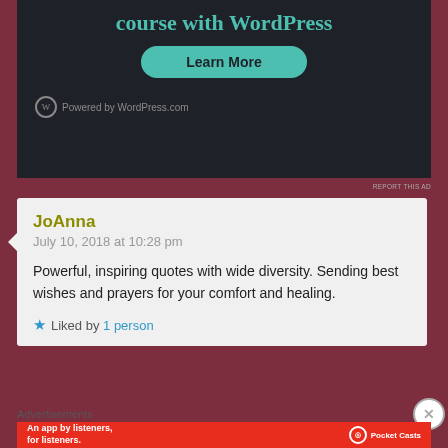[Figure (screenshot): WordPress.com advertisement with dark background, teal 'course with WordPress' heading, green 'Learn More' button, and 'Powered by WordPress.com' footer]
REPORT THIS AD
JoAnna
July 10, 2018 at 10:28 pm

Powerful, inspiring quotes with wide diversity. Sending best wishes and prayers for your comfort and healing.

★ Liked by 1 person
Advertisements
[Figure (screenshot): Pocket Casts advertisement: red banner reading 'An app by listeners, for listeners.' with Pocket Casts logo and phone image]